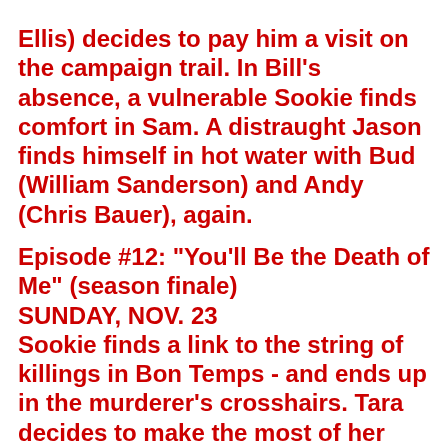Ellis) decides to pay him a visit on the campaign trail. In Bill's absence, a vulnerable Sookie finds comfort in Sam. A distraught Jason finds himself in hot water with Bud (William Sanderson) and Andy (Chris Bauer), again.
Episode #12: "You'll Be the Death of Me" (season finale)
SUNDAY, NOV. 23
Sookie finds a link to the string of killings in Bon Temps - and ends up in the murderer's crosshairs. Tara decides to make the most of her second chance with Maryann; Jason finds a new calling after anti-vampire zealot Orry (Michael Bofshever) visits him in jail; Bill tempts fate during his latest attempt to save Sookie; Sam is perturbed by an encounter with an